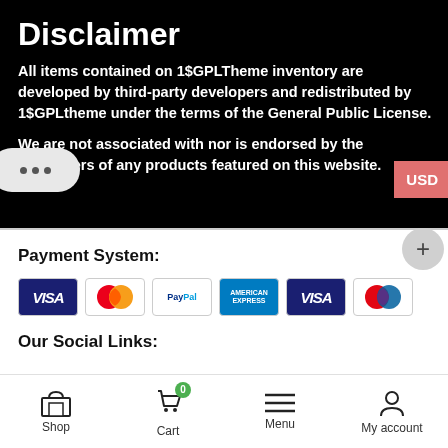Disclaimer
All items contained on 1$GPLTheme inventory are developed by third-party developers and redistributed by 1$GPLtheme under the terms of the General Public License.
We are not associated with nor is endorsed by the developers of any products featured on this website.
Payment System:
[Figure (other): Payment method icons: VISA, Mastercard, PayPal, American Express, VISA, Maestro]
Our Social Links:
Shop | Cart (0) | Menu | My account